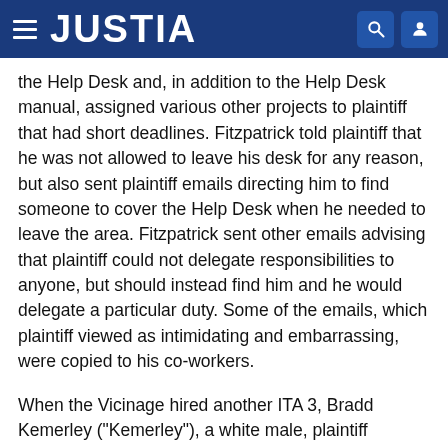JUSTIA
the Help Desk and, in addition to the Help Desk manual, assigned various other projects to plaintiff that had short deadlines. Fitzpatrick told plaintiff that he was not allowed to leave his desk for any reason, but also sent plaintiff emails directing him to find someone to cover the Help Desk when he needed to leave the area. Fitzpatrick sent other emails advising that plaintiff could not delegate responsibilities to anyone, but should instead find him and he would delegate a particular duty. Some of the emails, which plaintiff viewed as intimidating and embarrassing, were copied to his co-workers.
When the Vicinage hired another ITA 3, Bradd Kemerley ("Kemerley"), a white male, plaintiff immediately noticed that Fitzpatrick treated Kemerley differently. For example, Kemerley was given minimal assignments to